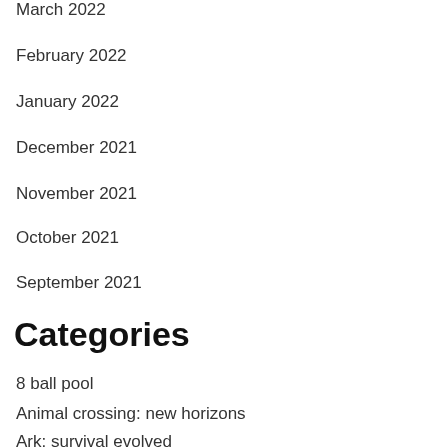March 2022
February 2022
January 2022
December 2021
November 2021
October 2021
September 2021
Categories
8 ball pool
Animal crossing: new horizons
Ark: survival evolved